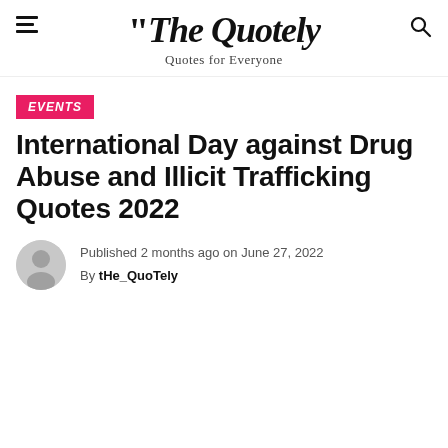"The Quotely — Quotes for Everyone
EVENTS
International Day against Drug Abuse and Illicit Trafficking Quotes 2022
Published 2 months ago on June 27, 2022
By tHe_QuoTely